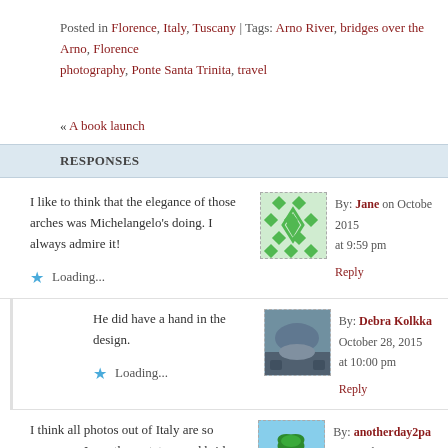Posted in Florence, Italy, Tuscany | Tags: Arno River, bridges over the Arno, Florence photography, Ponte Santa Trinita, travel
« A book launch
RESPONSES
I like to think that the elegance of those arches was Michelangelo's doing. I always admire it!
By: Jane on October 2015 at 9:59 pm
Reply
Loading...
He did have a hand in the design.
By: Debra Kolkka October 28, 2015 at 10:00 pm
Reply
Loading...
I think all photos out of Italy are so gorgeous. Love these statues and bridges.
By: anotherday2pa on October 28, 2015 at 10:36 pm